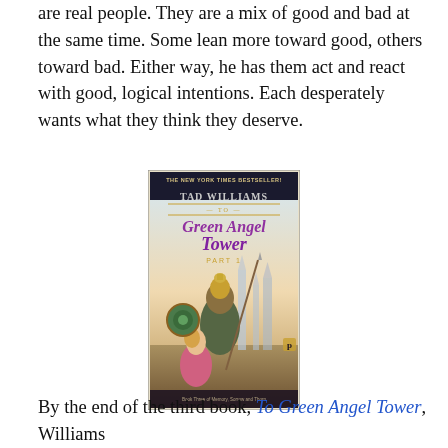are real people. They are a mix of good and bad at the same time. Some lean more toward good, others toward bad. Either way, he has them act and react with good, logical intentions. Each desperately wants what they think they deserve.
[Figure (photo): Book cover of 'To Green Angel Tower Part 1' by Tad Williams, labeled 'The New York Times Bestseller!'. Shows fantasy artwork with armored figure and a woman in a pink dress, with castle spires in the background. Bottom text: Book Three of Memory, Sorrow and Thorn.]
By the end of the third book, To Green Angel Tower, Williams...